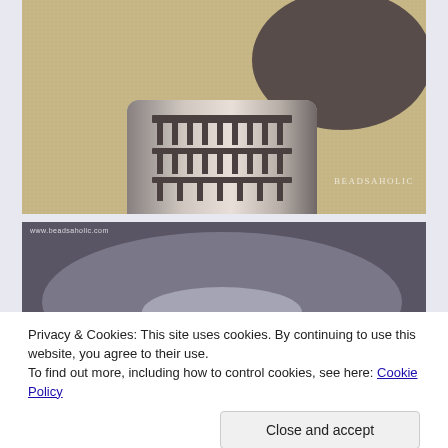[Figure (photo): Close-up macro photograph of a silver Pandora-style charm bead shaped like the Roman Colosseum, resting on a woven surface. Watermark reading BEADSAHOLIC visible in lower right corner.]
[Figure (photo): Second photo of a silver charm bead, partially obscured by cookie consent banner. URL www.beadsaholic.com visible in upper left corner.]
Privacy & Cookies: This site uses cookies. By continuing to use this website, you agree to their use.
To find out more, including how to control cookies, see here: Cookie Policy
Close and accept